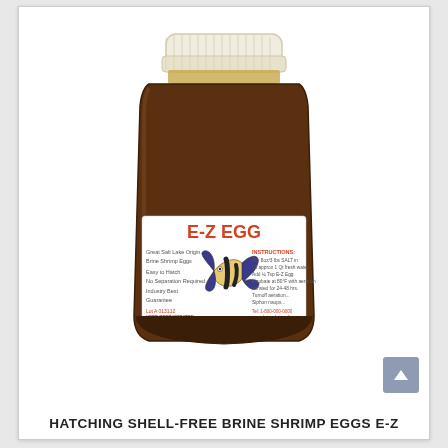[Figure (photo): A dark amber/brown plastic jar with a white screw-top lid containing E-Z EGG brine shrimp eggs. The jar has a white label with red text reading 'E-Z EGG' prominently, and smaller text including 'Great Salt Lake Origin', 'Brine Shrimp Eggs', 'Easy to Hatch', 'No Separation Required', 'Industry Best Guarantee', instructions for use, and 'Net wt. 1000 ml'. A decorative fish illustration (angelfish) appears on the label.]
HATCHING SHELL-FREE BRINE SHRIMP EGGS E-Z